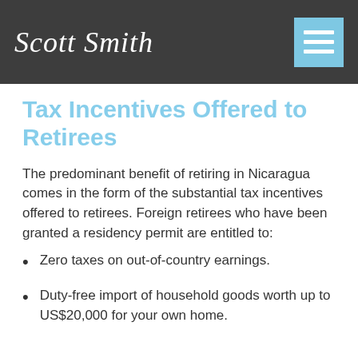Scott Smith
Tax Incentives Offered to Retirees
The predominant benefit of retiring in Nicaragua comes in the form of the substantial tax incentives offered to retirees. Foreign retirees who have been granted a residency permit are entitled to:
Zero taxes on out-of-country earnings.
Duty-free import of household goods worth up to US$20,000 for your own home.